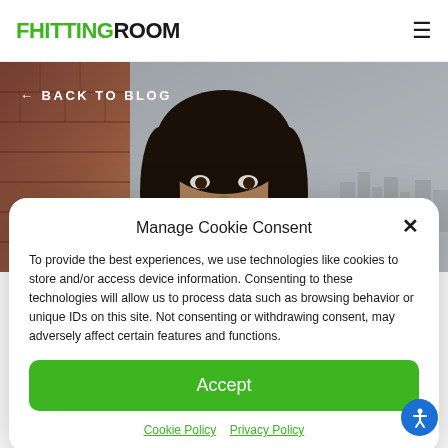FHITTING ROOM
[Figure (photo): Hero image of a smiling young woman with dark hair in front of a brick wall and city skyline, with 'BACK TO BLOG' navigation overlay]
Manage Cookie Consent
To provide the best experiences, we use technologies like cookies to store and/or access device information. Consenting to these technologies will allow us to process data such as browsing behavior or unique IDs on this site. Not consenting or withdrawing consent, may adversely affect certain features and functions.
Accept
Cookie Policy   Privacy Policy